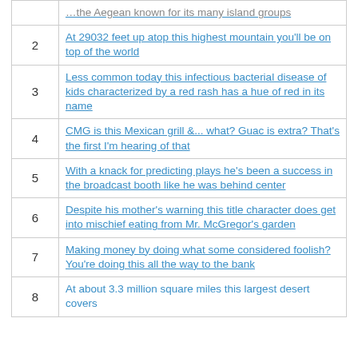| # | Clue |
| --- | --- |
|  | …the Aegean known for its many island groups |
| 2 | At 29032 feet up atop this highest mountain you'll be on top of the world |
| 3 | Less common today this infectious bacterial disease of kids characterized by a red rash has a hue of red in its name |
| 4 | CMG is this Mexican grill &... what? Guac is extra? That's the first I'm hearing of that |
| 5 | With a knack for predicting plays he's been a success in the broadcast booth like he was behind center |
| 6 | Despite his mother's warning this title character does get into mischief eating from Mr. McGregor's garden |
| 7 | Making money by doing what some considered foolish? You're doing this all the way to the bank |
| 8 | At about 3.3 million square miles this largest desert covers… |